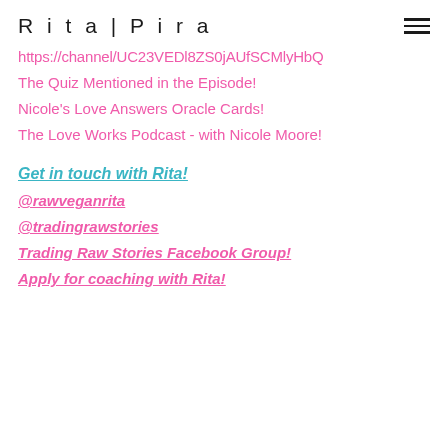Rita|Pira
https://channel/UC23VEDl8ZS0jAUfSCMlyHbQ
The Quiz Mentioned in the Episode!
Nicole's Love Answers Oracle Cards!
The Love Works Podcast - with Nicole Moore!
Get in touch with Rita!
@rawveganrita
@tradingrawstories
Trading Raw Stories Facebook Group!
Apply for coaching with Rita!